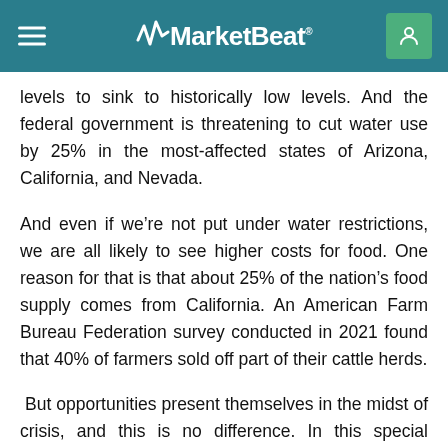MarketBeat
levels to sink to historically low levels. And the federal government is threatening to cut water use by 25% in the most-affected states of Arizona, California, and Nevada.
And even if we’re not put under water restrictions, we are all likely to see higher costs for food. One reason for that is that about 25% of the nation’s food supply comes from California. An American Farm Bureau Federation survey conducted in 2021 found that 40% of farmers sold off part of their cattle herds.
But opportunities present themselves in the midst of crisis, and this is no difference. In this special presentation, we’re looking at seven water stocks that